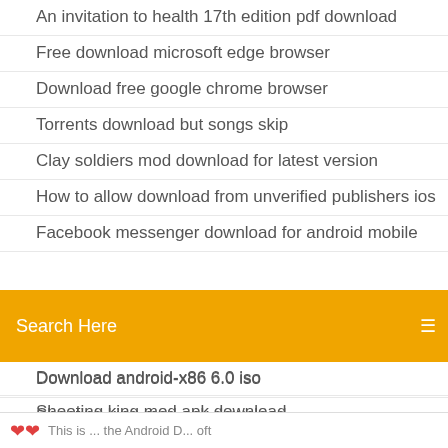An invitation to health 17th edition pdf download
Free download microsoft edge browser
Download free google chrome browser
Torrents download but songs skip
Clay soldiers mod download for latest version
How to allow download from unverified publishers ios
Facebook messenger download for android mobile
Search Here
Download android-x86 6.0 iso
Shooting king mod apk download
Download excel macro tutorial pdf
Pc freeware games download
Irs tax forms download pdf
Audio file converter download
Apple iphone download photos to pc
Fist fight mp4 download